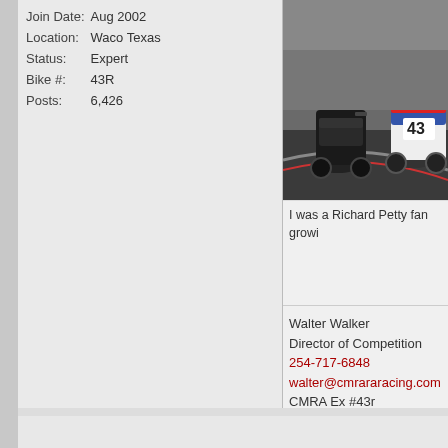| Join Date: | Aug 2002 |
| Location: | Waco Texas |
| Status: | Expert |
| Bike #: | 43R |
| Posts: | 6,426 |
[Figure (photo): Photograph of racing motorcycles in a pit/garage area, with a red and white bike prominently showing the number 43.]
I was a Richard Petty fan growi
Walter Walker
Director of Competition
254-717-6848
walter@cmrararacing.com
CMRA Ex #43r
Member since 1990
(NOT mean and unapproachab